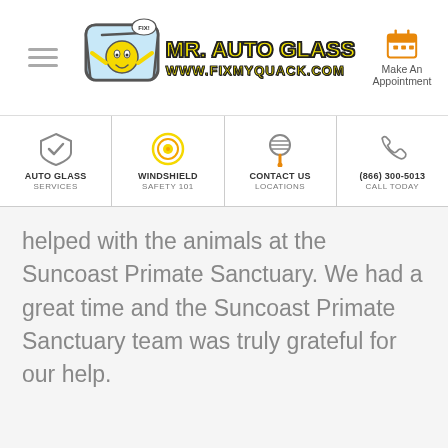Mr. Auto Glass — www.fixmyquack.com — Make An Appointment
[Figure (screenshot): Navigation bar with AUTO GLASS SERVICES, WINDSHIELD SAFETY 101, CONTACT US LOCATIONS, (866) 300-5013 CALL TODAY]
helped with the animals at the Suncoast Primate Sanctuary. We had a great time and the Suncoast Primate Sanctuary team was truly grateful for our help.